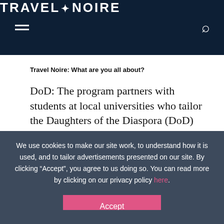TRAVEL+NOIRE
Travel Noire: What are you all about?
DoD: The program partners with students at local universities who tailor the Daughters of the Diaspora (DoD) curriculum for their culture and
We use cookies to make our site work, to understand how it is used, and to tailor advertisements presented on our site. By clicking “Accept”, you agree to us doing so. You can read more by clicking on our privacy policy here.
Accept